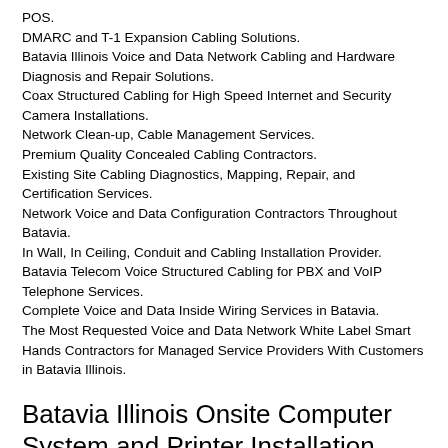POS.
DMARC and T-1 Expansion Cabling Solutions.
Batavia Illinois Voice and Data Network Cabling and Hardware Diagnosis and Repair Solutions.
Coax Structured Cabling for High Speed Internet and Security Camera Installations.
Network Clean-up, Cable Management Services.
Premium Quality Concealed Cabling Contractors.
Existing Site Cabling Diagnostics, Mapping, Repair, and Certification Services.
Network Voice and Data Configuration Contractors Throughout Batavia.
In Wall, In Ceiling, Conduit and Cabling Installation Provider.
Batavia Telecom Voice Structured Cabling for PBX and VoIP Telephone Services.
Complete Voice and Data Inside Wiring Services in Batavia.
The Most Requested Voice and Data Network White Label Smart Hands Contractors for Managed Service Providers With Customers in Batavia Illinois.
Batavia Illinois Onsite Computer System and Printer Installation, Config & Repair Services